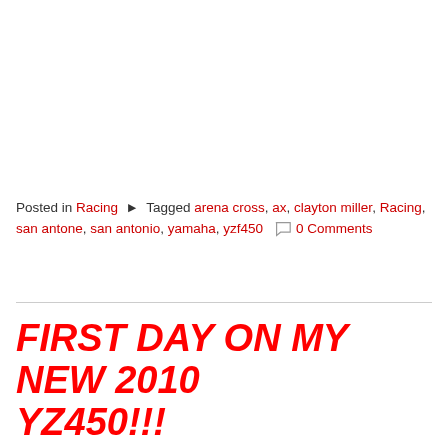Posted in Racing  Tagged arena cross, ax, clayton miller, Racing, san antone, san antonio, yamaha, yzf450   0 Comments
FIRST DAY ON MY NEW 2010 YZ450!!!
February 19, 2010